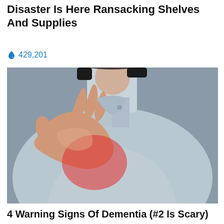Disaster Is Here Ransacking Shelves And Supplies
🔥 429,201
[Figure (photo): Close-up photo of a person in a light blue shirt pressing their hand to their chest, with a red glow around the chest area suggesting heartburn or pain.]
4 Warning Signs Of Dementia (#2 Is Scary)
🔥 22,342
[Figure (photo): Partial photo of two people, a woman with dark hair and an older man with white hair, visible from mid-face down.]